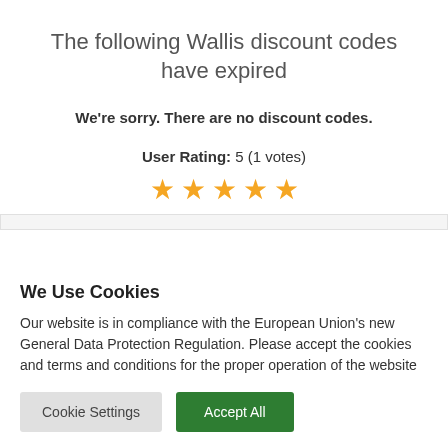The following Wallis discount codes have expired
We're sorry. There are no discount codes.
User Rating: 5 (1 votes)
[Figure (other): Five orange star rating icons]
We Use Cookies
Our website is in compliance with the European Union's new General Data Protection Regulation. Please accept the cookies and terms and conditions for the proper operation of the website
Cookie Settings | Accept All